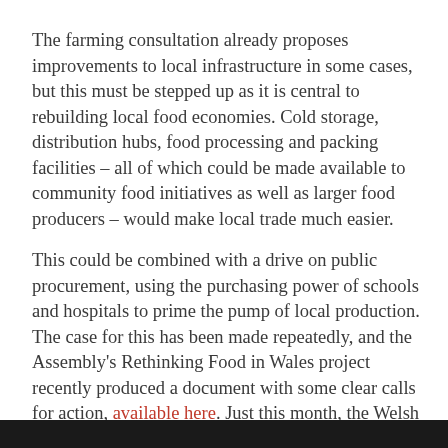The farming consultation already proposes improvements to local infrastructure in some cases, but this must be stepped up as it is central to rebuilding local food economies. Cold storage, distribution hubs, food processing and packing facilities – all of which could be made available to community food initiatives as well as larger food producers – would make local trade much easier.
This could be combined with a drive on public procurement, using the purchasing power of schools and hospitals to prime the pump of local production. The case for this has been made repeatedly, and the Assembly's Rethinking Food in Wales project recently produced a document with some clear calls for action, available here. Just this month, the Welsh Government has allocated £100,000 to Carmarthenshire Public Services Board to improve local food procurement as part of the £4.5 million